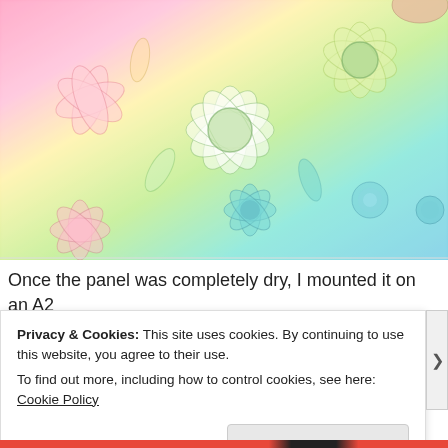[Figure (photo): Close-up photo of an embossed floral/botanical panel with rainbow gradient coloring — pink/red on the left transitioning through yellow, green, teal, and blue. The surface shows raised flower and leaf shapes with glittery finish. A finger/thumb is visible at the top right.]
Once the panel was completely dry, I mounted it on an A2
Privacy & Cookies: This site uses cookies. By continuing to use this website, you agree to their use.
To find out more, including how to control cookies, see here: Cookie Policy
Close and accept